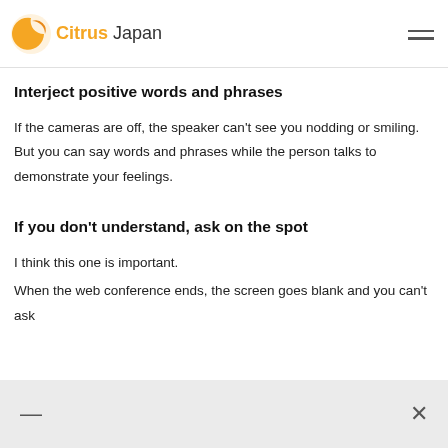Citrus Japan
Interject positive words and phrases
If the cameras are off, the speaker can't see you nodding or smiling. But you can say words and phrases while the person talks to demonstrate your feelings.
If you don't understand, ask on the spot
I think this one is important.
When the web conference ends, the screen goes blank and you can't ask
— ×